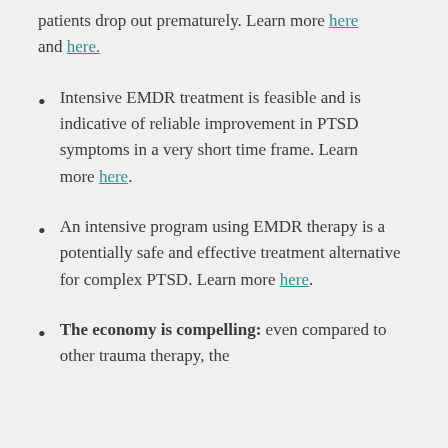patients drop out prematurely. Learn more here and here.
Intensive EMDR treatment is feasible and is indicative of reliable improvement in PTSD symptoms in a very short time frame. Learn more here.
An intensive program using EMDR therapy is a potentially safe and effective treatment alternative for complex PTSD. Learn more here.
The economy is compelling: even compared to other trauma therapy, the